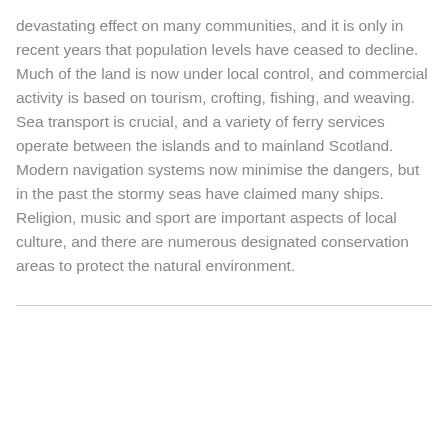devastating effect on many communities, and it is only in recent years that population levels have ceased to decline. Much of the land is now under local control, and commercial activity is based on tourism, crofting, fishing, and weaving. Sea transport is crucial, and a variety of ferry services operate between the islands and to mainland Scotland. Modern navigation systems now minimise the dangers, but in the past the stormy seas have claimed many ships. Religion, music and sport are important aspects of local culture, and there are numerous designated conservation areas to protect the natural environment.